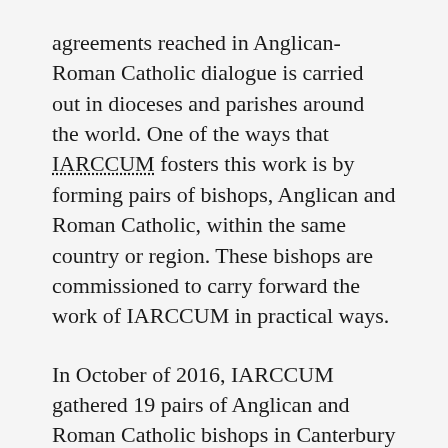agreements reached in Anglican-Roman Catholic dialogue is carried out in dioceses and parishes around the world. One of the ways that IARCCUM fosters this work is by forming pairs of bishops, Anglican and Roman Catholic, within the same country or region. These bishops are commissioned to carry forward the work of IARCCUM in practical ways.
In October of 2016, IARCCUM gathered 19 pairs of Anglican and Roman Catholic bishops in Canterbury and Rome for an 8-day pilgrimage. This gathering was an opportunity to study and pray together at the tombs of Saints Peter, Paul, Augustine of Canterbury, and Thomas à Becket. The 2016 Pilgrimage provided an opportunity for the bishops to discuss the ecumenical context in their own countries and